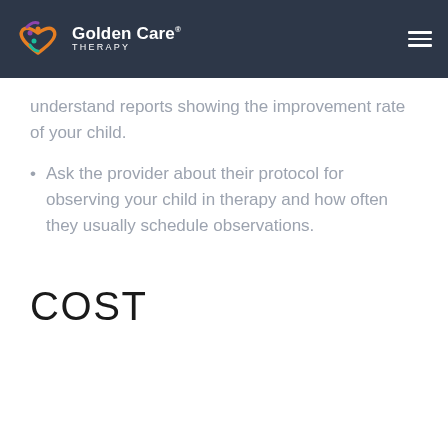Golden Care Therapy
understand reports showing the improvement rate of your child.
Ask the provider about their protocol for observing your child in therapy and how often they usually schedule observations.
COST